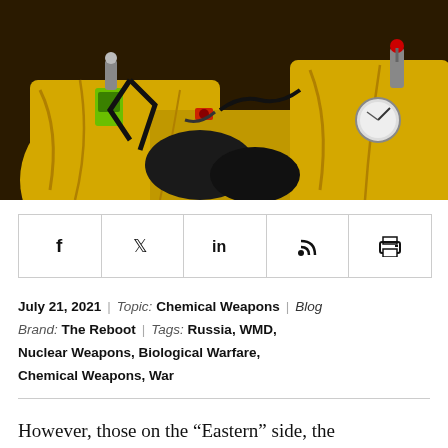[Figure (photo): People in yellow hazmat suits with black gloves and breathing equipment/gauges working together closely.]
[Figure (infographic): Social sharing bar with icons for Facebook, Twitter, LinkedIn, RSS feed, and Print.]
July 21, 2021 | Topic: Chemical Weapons | Blog Brand: The Reboot | Tags: Russia, WMD, Nuclear Weapons, Biological Warfare, Chemical Weapons, War
However, those on the “Eastern” side, the